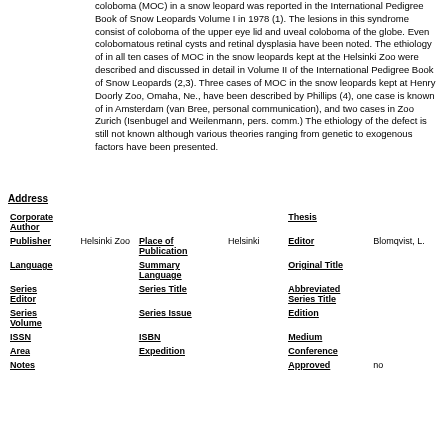coloboma (MOC) in a snow leopard was reported in the International Pedigree Book of Snow Leopards Volume I in 1978 (1). The lesions in this syndrome consist of coloboma of the upper eye lid and uveal coloboma of the globe. Even colobomatous retinal cysts and retinal dysplasia have been noted. The ethiology of in all ten cases of MOC in the snow leopards kept at the Helsinki Zoo were described and discussed in detail in Volume II of the International Pedigree Book of Snow Leopards (2,3). Three cases of MOC in the snow leopards kept at Henry Doorly Zoo, Omaha, Ne., have been described by Phillips (4), one case is known of in Amsterdam (van Bree, personal communication), and two cases in Zoo Zurich (Isenbugel and Weilenmann, pers. comm.) The ethiology of the defect is still not known although various theories ranging from genetic to exogenous factors have been presented.
Address
| Field | Value1 | Field2 | Value2 | Field3 | Value3 |
| --- | --- | --- | --- | --- | --- |
| Corporate Author |  |  |  | Thesis |  |
| Publisher | Helsinki Zoo | Place of Publication | Helsinki | Editor | Blomqvist, L. |
| Language |  | Summary Language |  | Original Title |  |
| Series Editor |  | Series Title |  | Abbreviated Series Title |  |
| Series Volume |  | Series Issue |  | Edition |  |
| ISSN |  | ISBN |  | Medium |  |
| Area |  | Expedition |  | Conference |  |
| Notes |  |  |  | Approved | no |